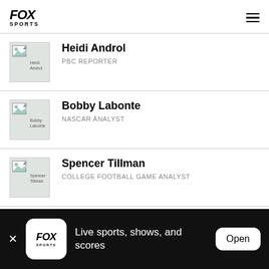FOX SPORTS
Heidi Androl — PBC REPORTER
Bobby Labonte — NASCAR ANALYST
Spencer Tillman — COLLEGE FOOTBALL GAME ANALYST
Kenny Albert — NFL, MLB AND PBC PLAY-BY-PLAY ANNOUNCER
Live sports, shows, and scores